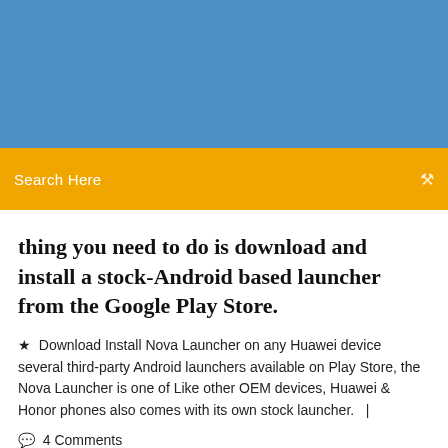[Figure (other): Blue header background image area]
Search Here
thing you need to do is download and install a stock-Android based launcher from the Google Play Store.
Download Install Nova Launcher on any Huawei device several third-party Android launchers available on Play Store, the Nova Launcher is one of Like other OEM devices, Huawei & Honor phones also comes with its own stock launcher.   |
4 Comments